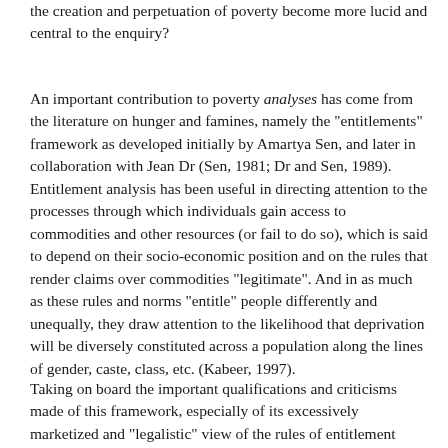the creation and perpetuation of poverty become more lucid and central to the enquiry?
An important contribution to poverty analyses has come from the literature on hunger and famines, namely the "entitlements" framework as developed initially by Amartya Sen, and later in collaboration with Jean Dr (Sen, 1981; Dr and Sen, 1989). Entitlement analysis has been useful in directing attention to the processes through which individuals gain access to commodities and other resources (or fail to do so), which is said to depend on their socio-economic position and on the rules that render claims over commodities "legitimate". And in as much as these rules and norms "entitle" people differently and unequally, they draw attention to the likelihood that deprivation will be diversely constituted across a population along the lines of gender, caste, class, etc. (Kabeer, 1997).
Taking on board the important qualifications and criticisms made of this framework, especially of its excessively marketized and "legalistic" view of the rules of entitlement (Gore, 1993; de Waal,